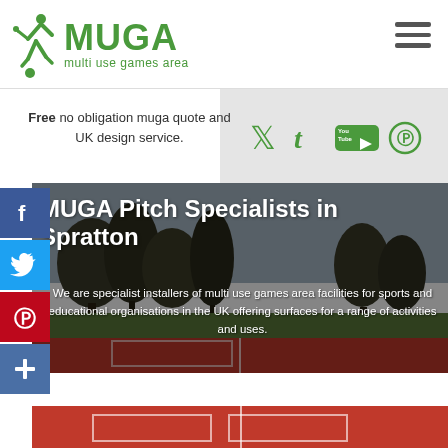[Figure (logo): MUGA multi use games area logo with green running figure icon and green text]
[Figure (infographic): Hamburger menu icon (three horizontal bars) top right]
[Figure (infographic): Social media icons: Twitter, Tumblr, YouTube, Pinterest on grey background top right]
Free no obligation muga quote and UK design service.
[Figure (infographic): Side social buttons: Facebook (blue), Twitter (blue), Pinterest (red), Share (dark blue)]
[Figure (photo): Aerial or ground-level photo of a MUGA sports pitch with trees in background and red court surface visible]
MUGA Pitch Specialists in Spratton
We are specialist installers of multi use games area facilities for sports and educational organisations in the UK offering surfaces for a range of activities and uses.